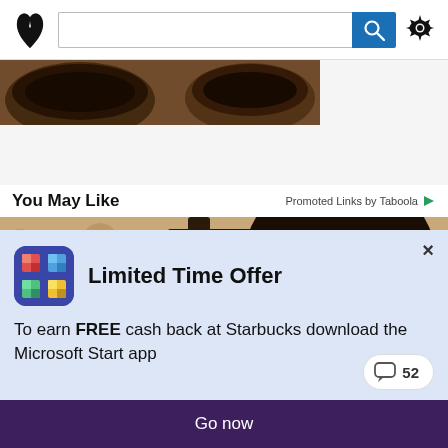[Figure (screenshot): Navigation bar with butterfly/logo icon, search input box, blue search button with magnifier icon, and gear/settings icon]
[Figure (photo): Partial cropped photo of coffee/food items in bowls from above]
You May Like
Promoted Links by Taboola
[Figure (photo): Outdoor wall lantern/light fixture mounted on textured stucco wall, with LED bulb visible]
Limited Time Offer
To earn FREE cash back at Starbucks download the Microsoft Start app
Go now
52